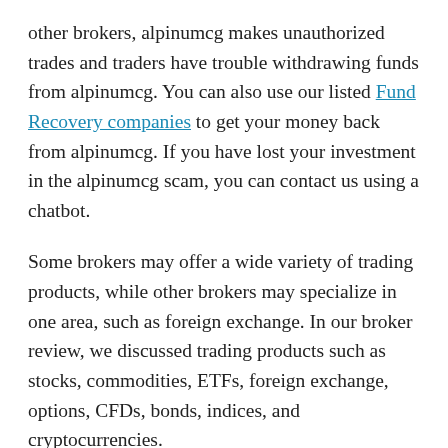other brokers, alpinumcg makes unauthorized trades and traders have trouble withdrawing funds from alpinumcg. You can also use our listed Fund Recovery companies to get your money back from alpinumcg. If you have lost your investment in the alpinumcg scam, you can contact us using a chatbot.
Some brokers may offer a wide variety of trading products, while other brokers may specialize in one area, such as foreign exchange. In our broker review, we discussed trading products such as stocks, commodities, ETFs, foreign exchange, options, CFDs, bonds, indices, and cryptocurrencies.
Sometimes, in Forex trading scams, the fraudulent broker only offers their own platform, which may turn out to be fake. When investigating a broker co[truncated]